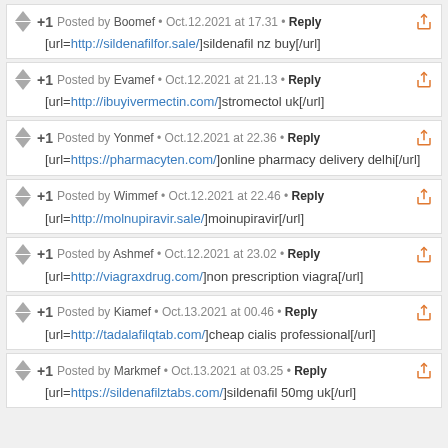+1 Posted by Boomef • Oct.12.2021 at 17.31 • Reply
[url=http://sildenafilfor.sale/]sildenafil nz buy[/url]
+1 Posted by Evamef • Oct.12.2021 at 21.13 • Reply
[url=http://ibuyivermectin.com/]stromectol uk[/url]
+1 Posted by Yonmef • Oct.12.2021 at 22.36 • Reply
[url=https://pharmacyten.com/]online pharmacy delivery delhi[/url]
+1 Posted by Wimmef • Oct.12.2021 at 22.46 • Reply
[url=http://molnupiravir.sale/]moinupiravir[/url]
+1 Posted by Ashmef • Oct.12.2021 at 23.02 • Reply
[url=http://viagraxdrug.com/]non prescription viagra[/url]
+1 Posted by Kiamef • Oct.13.2021 at 00.46 • Reply
[url=http://tadalafilqtab.com/]cheap cialis professional[/url]
+1 Posted by Markmef • Oct.13.2021 at 03.25 • Reply
[url=https://sildenafilztabs.com/]sildenafil 50mg uk[/url]